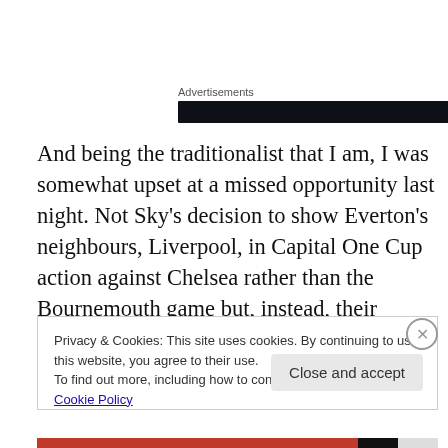Advertisements
[Figure (other): Dark advertisement banner bar]
And being the traditionalist that I am, I was somewhat upset at a missed opportunity last night. Not Sky's decision to show Everton's neighbours, Liverpool, in Capital One Cup action against Chelsea rather than the Bournemouth game but, instead, their review of the action in the 10pm newsreel on Sky Sports News.
Privacy & Cookies: This site uses cookies. By continuing to use this website, you agree to their use.
To find out more, including how to control cookies, see here: Cookie Policy